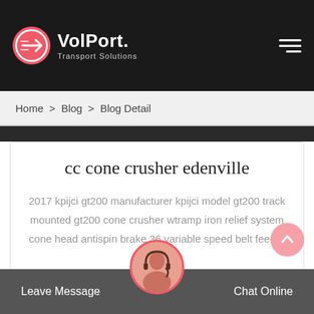VolPort. Transport Solutions
Home > Blog > Blog Detail
cc cone crusher edenville
2017 kpijci gt200 manufacturer kpijci model gt200 track mounted gt200 cone crusher wtramp iron relief system cone head antispin brake 36 variable speed belt feeder 36 unde...
Get Price
Leave Message
Chat Online